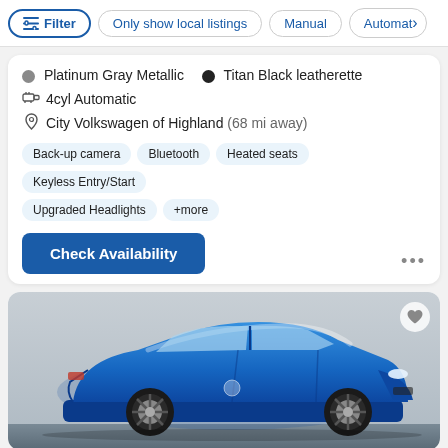Filter | Only show local listings | Manual | Automatic
Platinum Gray Metallic  •  Titan Black leatherette
4cyl Automatic
City Volkswagen of Highland (68 mi away)
Back-up camera  Bluetooth  Heated seats  Keyless Entry/Start  Upgraded Headlights  +more
Check Availability
[Figure (photo): Blue Volkswagen Jetta sedan photographed from the side against a neutral gray background, showing alloy wheels and blue exterior paint.]